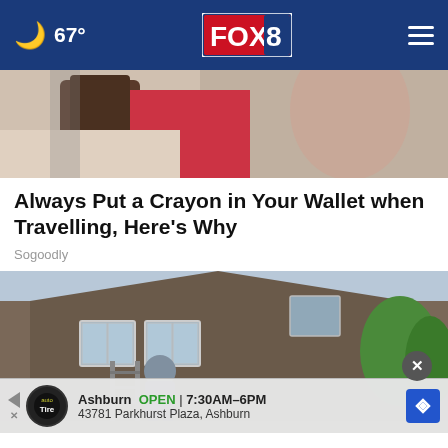67° FOX 8
[Figure (photo): Close-up photo of hands near a dark wooden surface with a red object visible]
Always Put a Crayon in Your Wallet when Travelling, Here's Why
Sogoodly
[Figure (photo): Person working on a sloped roof of a brick house with skylights and green trees in the background]
Ashburn  OPEN  7:30AM–6PM  43781 Parkhurst Plaza, Ashburn